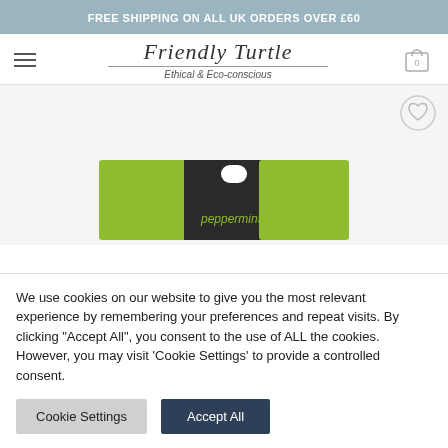FREE SHIPPING ON ALL UK ORDERS OVER £60
[Figure (logo): Friendly Turtle logo with text 'Friendly Turtle' in handwritten style and subtitle 'Ethical & Eco-conscious']
[Figure (photo): Peppermint product in green and black packaging with a hanger slot, showing the word 'peppermint' on dark label]
We use cookies on our website to give you the most relevant experience by remembering your preferences and repeat visits. By clicking "Accept All", you consent to the use of ALL the cookies. However, you may visit 'Cookie Settings' to provide a controlled consent.
Cookie Settings | Accept All